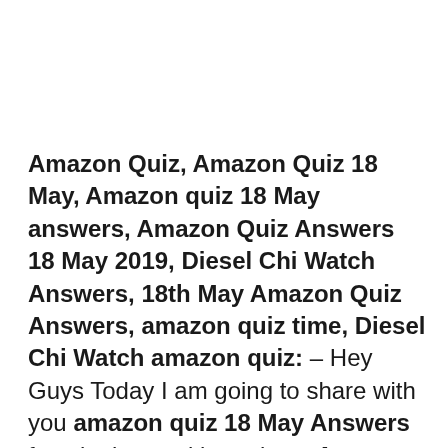Amazon Quiz, Amazon Quiz 18 May, Amazon quiz 18 May answers, Amazon Quiz Answers 18 May 2019, Diesel Chi Watch Answers, 18th May Amazon Quiz Answers, amazon quiz time, Diesel Chi Watch amazon quiz: – Hey Guys Today I am going to share with you amazon quiz 18 May Answers for winning exciting prices. Amazon quiz always gives a chance to his app users to win gifts like iPhone x, honor 8x, Diesel Chi Watch, Canon DSLR